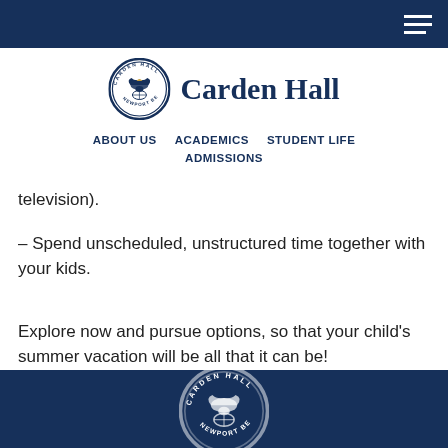Carden Hall — Navigation header with hamburger menu
[Figure (logo): Carden Hall Newport Beach circular seal logo with eagle, next to text 'Carden Hall']
ABOUT US   ACADEMICS   STUDENT LIFE   ADMISSIONS
…g television).
– Spend unscheduled, unstructured time together with your kids.
Explore now and pursue options, so that your child's summer vacation will be all that it can be!
Carden Hall footer with seal logo